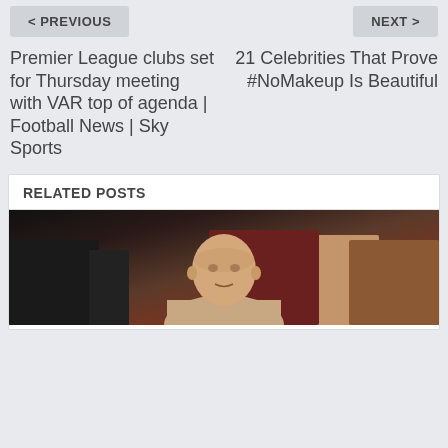< PREVIOUS
NEXT >
Premier League clubs set for Thursday meeting with VAR top of agenda | Football News | Sky Sports
21 Celebrities That Prove #NoMakeup Is Beautiful
RELATED POSTS
[Figure (photo): A bald man photographed against a dark background with clothing visible]